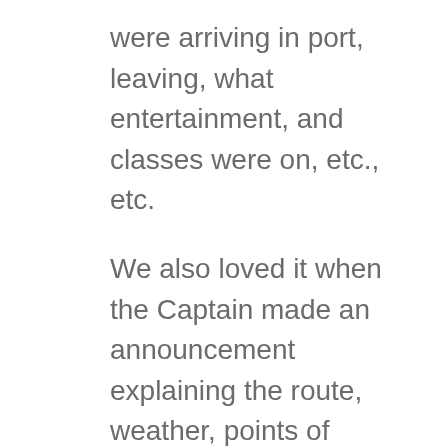were arriving in port, leaving, what entertainment, and classes were on, etc., etc.
We also loved it when the Captain made an announcement explaining the route, weather, points of interest, etc. Probably would have liked the Captain to talk to us more.
Cruise Suggestion: Get a spell checker before you hand out anything in written format (oh the irony, as I make lots of spelling and grammar